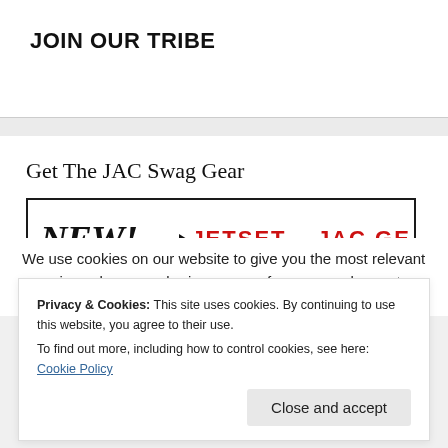JOIN OUR TRIBE
Get The JAC Swag Gear
[Figure (illustration): Promotional banner with handwritten 'NEW!' text and arrow pointing to 'JETSET – JAC GEAR' in bold red capital letters, inside a black border box.]
We use cookies on our website to give you the most relevant experience by remembering your preferences and repeat visits. By
Privacy & Cookies: This site uses cookies. By continuing to use this website, you agree to their use.
To find out more, including how to control cookies, see here: Cookie Policy
Close and accept